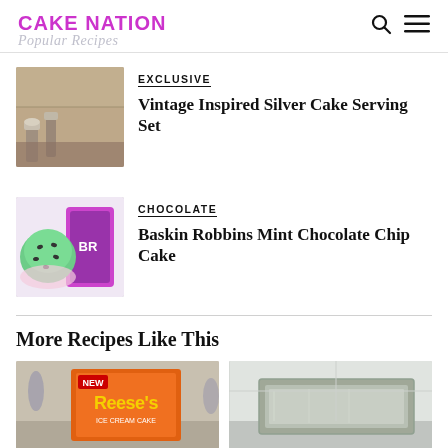CAKE NATION
Popular Recipes
EXCLUSIVE
Vintage Inspired Silver Cake Serving Set
[Figure (photo): Silver cake serving set on a brown surface]
CHOCOLATE
Baskin Robbins Mint Chocolate Chip Cake
[Figure (photo): Mint chocolate chip ice cream scoops and Baskin Robbins container]
More Recipes Like This
[Figure (photo): Reese's ice cream cake box in a store]
[Figure (photo): Metal baking pan on a light background]